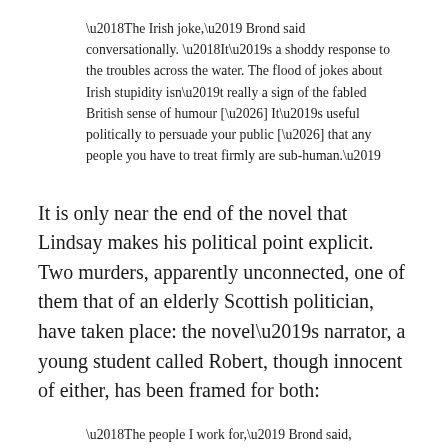‘The Irish joke,’ Brond said conversationally. ‘It’s a shoddy response to the troubles across the water. The flood of jokes about Irish stupidity isn’t really a sign of the fabled British sense of humour […] It’s useful politically to persuade your public […] that any people you have to treat firmly are sub-human.’
It is only near the end of the novel that Lindsay makes his political point explicit. Two murders, apparently unconnected, one of them that of an elderly Scottish politician, have taken place: the novel’s narrator, a young student called Robert, though innocent of either, has been framed for both:
‘The people I work for,’ Brond said, sounding unctuous, ‘wanted an act of terrorism that would make the public detest those who were accused of it. In any case, the old party […] had become a confounded nuisance […] His death solved one problem, and if it could be made to forestall another — the risk, however remote, of the natives here getting restless — so much